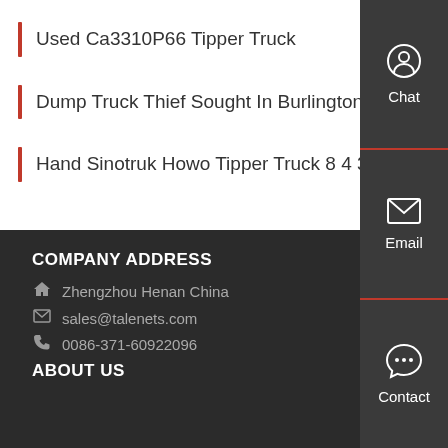Used Ca3310P66 Tipper Truck
Dump Truck Thief Sought In Burlington County
Hand Sinotruk Howo Tipper Truck 8 4 371HP
COMPANY ADDRESS
Zhengzhou Henan China
sales@talenets.com
0086-371-60922096
ABOUT US